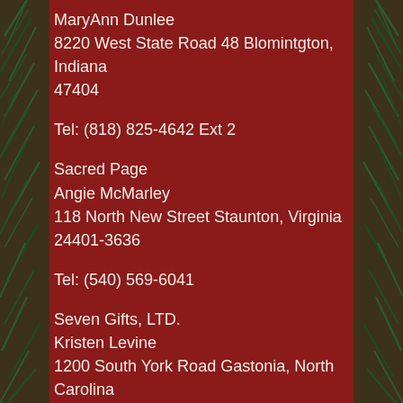MaryAnn Dunlee
8220 West State Road 48 Blomintgton, Indiana 47404
Tel: (818) 825-4642 Ext 2
Sacred Page
Angie McMarley
118 North New Street Staunton, Virginia 24401-3636
Tel: (540) 569-6041
Seven Gifts, LTD.
Kristen Levine
1200 South York Road Gastonia, North Carolina 28052